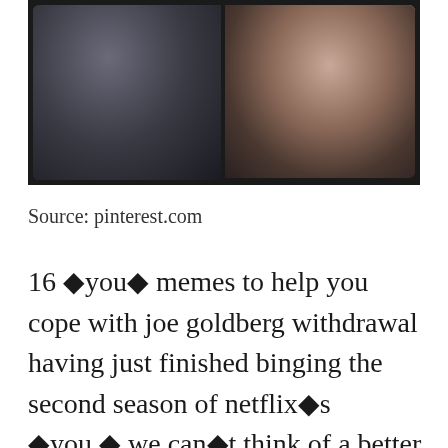[Figure (photo): Two photos side by side: left shows a man in dark clothing outdoors, right shows a young woman with long brown hair in dark clothing]
Source: pinterest.com
16 •you• memes to help you cope with joe goldberg withdrawal having just finished binging the second season of netflix•s •you,• we can•t think of a better way to digest than with memes. With the best